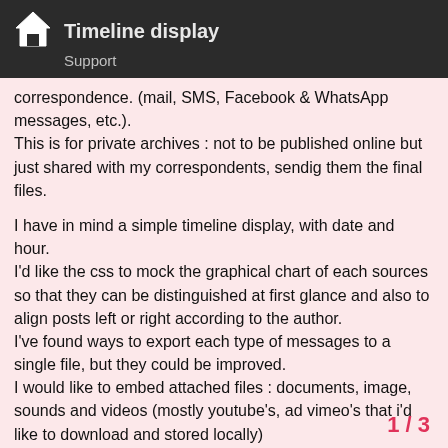Timeline display
Support
correspondence. (mail, SMS, Facebook & WhatsApp messages, etc.).
This is for private archives : not to be published online but just shared with my correspondents, sendig them the final files.

I have in mind a simple timeline display, with date and hour.
I'd like the css to mock the graphical chart of each sources so that they can be distinguished at first glance and also to align posts left or right according to the author.
I've found ways to export each type of messages to a single file, but they could be improved.
I would like to embed attached files : documents, image, sounds and videos (mostly youtube's, ad vimeo's that i'd like to download and stored locally)
If possible, i'd like long entries (ie mails) to be collapsable or to open in a pop up.

From whar I've read, It seems to me that a do the trick, avoiding the hassle of building
1 / 3